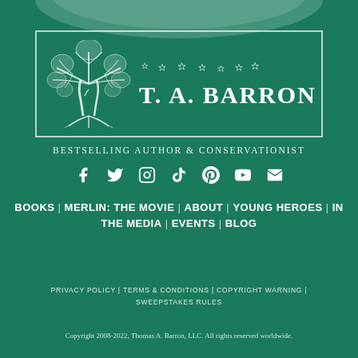[Figure (logo): T. A. Barron logo with illustrated tree on left and name text on right, stars above, all in white on dark green background with white border rectangle]
BESTSELLING AUTHOR & CONSERVATIONIST
[Figure (infographic): Row of social media icons: Facebook, Twitter, Instagram, TikTok, Pinterest, YouTube, Email]
BOOKS | MERLIN: THE MOVIE | ABOUT | YOUNG HEROES | IN THE MEDIA | EVENTS | BLOG
PRIVACY POLICY | TERMS & CONDITIONS | COPYRIGHT WARNING | SWEEPSTAKES RULES
Copyright 2008-2022, Thomas A. Barron, LLC. All rights reserved worldwide.